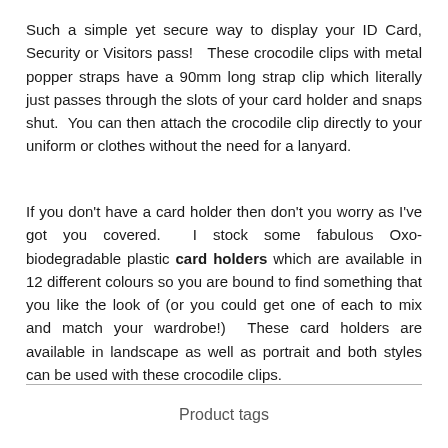Such a simple yet secure way to display your ID Card, Security or Visitors pass!  These crocodile clips with metal popper straps have a 90mm long strap clip which literally just passes through the slots of your card holder and snaps shut.  You can then attach the crocodile clip directly to your uniform or clothes without the need for a lanyard.
If you don't have a card holder then don't you worry as I've got you covered.  I stock some fabulous Oxo-biodegradable plastic card holders which are available in 12 different colours so you are bound to find something that you like the look of (or you could get one of each to mix and match your wardrobe!)  These card holders are available in landscape as well as portrait and both styles can be used with these crocodile clips.
Product tags